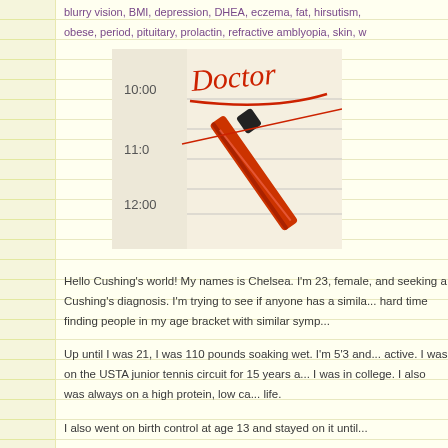blurry vision, BMI, depression, DHEA, eczema, fat, hirsutism, obese, period, pituitary, prolactin, refractive amblyopia, skin, w
[Figure (photo): Photo of a doctor appointment book or planner showing times 10:00, 11:00, 12:00 with 'Doctor' written in red cursive handwriting and a red pen laying across the page]
Hello Cushing's world! My names is Chelsea. I'm 23, female, and seeking a Cushing's diagnosis. I'm trying to see if anyone has a similar story. I've had a hard time finding people in my age bracket with similar symp...
Up until I was 21, I was 110 pounds soaking wet. I'm 5'3 and very active. I was on the USTA junior tennis circuit for 15 years and played in college. I also was always on a high protein, low car... life.
I also went on birth control at age 13 and stayed on it until...